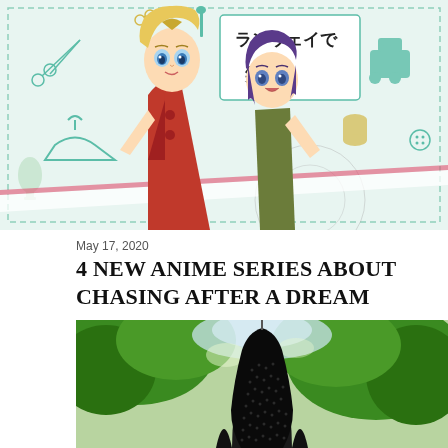[Figure (illustration): Anime promotional image for 'Runway de Waratte' (Smile Down the Runway) featuring two anime characters: a tall blonde girl in a red sleeveless dress and a shorter girl with purple hair in an olive shirt. Background has sewing-themed icons (scissors, sewing machine, thread, dress form) in teal and yellow on a white/mint background. Japanese text reads ランウェイで笑って.]
May 17, 2020
4 NEW ANIME SERIES ABOUT CHASING AFTER A DREAM
Share    2 comments
[Figure (photo): Photo of a large dark bell-shaped lamp or lantern hanging outdoors among green trees. The lamp has a dotted/perforated dark surface. Green foliage and bright sky visible in background.]